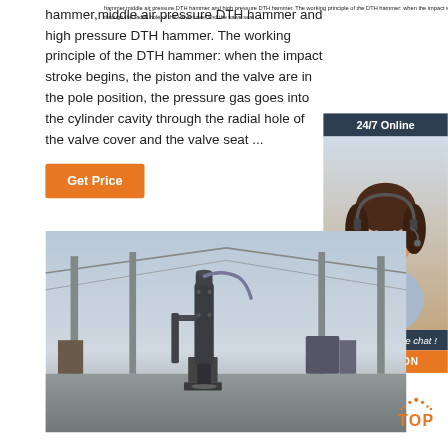hammer,middle air pressure DTH hammer and high pressure DTH hammer. The working principle of the DTH hammer: when the impact stroke begins, the piston and the valve are in the pole position, the pressure gas goes into the cylinder cavity through the radial hole of the valve cover and the valve seat ...
[Figure (other): Orange 'Get Price' button]
[Figure (other): 24/7 Online banner with customer service representative photo wearing headset]
[Figure (other): 'Click here for free chat!' panel with QUOTATION orange button]
[Figure (photo): Industrial warehouse interior showing a large black DTH hammer drilling equipment mounted on a stand, with high ceiling and steel structure visible]
[Figure (other): TOP back-to-top button with orange dots and text]